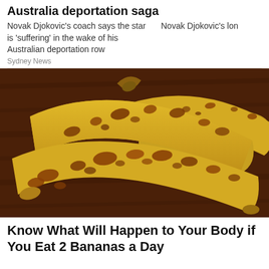Australia deportation saga
Novak Djokovic's coach says the star is 'suffering' in the wake of his Australian deportation row    Novak Djokovic's lon
Sydney News
[Figure (photo): Three overripe bananas with brown spots on a dark wooden surface]
Know What Will Happen to Your Body if You Eat 2 Bananas a Day